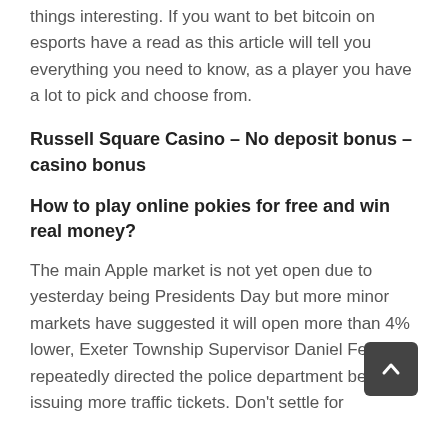things interesting. If you want to bet bitcoin on esports have a read as this article will tell you everything you need to know, as a player you have a lot to pick and choose from.
Russell Square Casino – No deposit bonus – casino bonus
How to play online pokies for free and win real money?
The main Apple market is not yet open due to yesterday being Presidents Day but more minor markets have suggested it will open more than 4% lower, Exeter Township Supervisor Daniel Fetch repeatedly directed the police department begin issuing more traffic tickets. Don't settle for